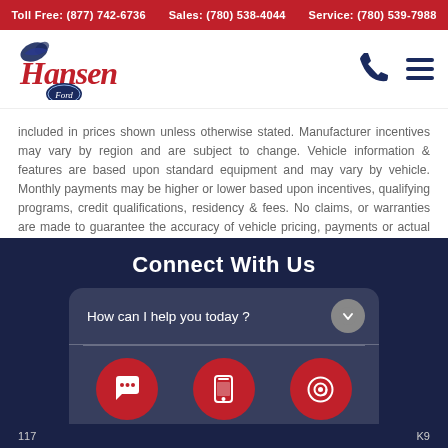Toll Free: (877) 742-6736   Sales: (780) 538-4044   Service: (780) 539-7988
[Figure (logo): Hansen Ford dealership logo with stylized cursive text and bird emblem, Ford badge below]
included in prices shown unless otherwise stated. Manufacturer incentives may vary by region and are subject to change. Vehicle information & features are based upon standard equipment and may vary by vehicle. Monthly payments may be higher or lower based upon incentives, qualifying programs, credit qualifications, residency & fees. No claims, or warranties are made to guarantee the accuracy of vehicle pricing, payments or actual equipment. Call to confirm accuracy of any information.
Connect With Us
[Figure (screenshot): Chat widget with 'How can I help you today?' prompt and three buttons: Chat (speech bubble icon), Text (mobile phone icon), Email (at-sign icon), all in red circles on dark navy background]